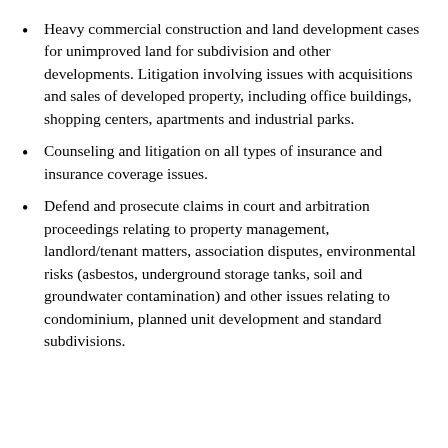Heavy commercial construction and land development cases for unimproved land for subdivision and other developments. Litigation involving issues with acquisitions and sales of developed property, including office buildings, shopping centers, apartments and industrial parks.
Counseling and litigation on all types of insurance and insurance coverage issues.
Defend and prosecute claims in court and arbitration proceedings relating to property management, landlord/tenant matters, association disputes, environmental risks (asbestos, underground storage tanks, soil and groundwater contamination) and other issues relating to condominium, planned unit development and standard subdivisions.